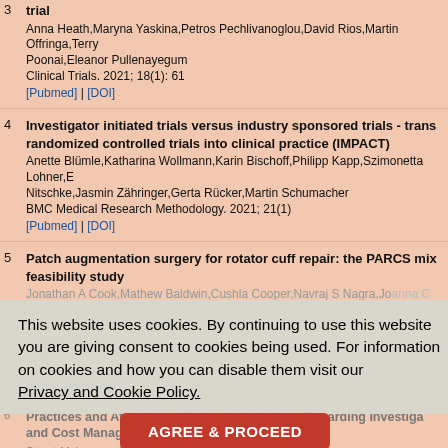3. [title cut off] trial
Anna Heath,Maryna Yaskina,Petros Pechlivanoglou,David Rios,Martin Offringa,Terry Poonai,Eleanor Pullenayegum
Clinical Trials. 2021; 18(1): 61
[Pubmed] | [DOI]
4. Investigator initiated trials versus industry sponsored trials - trans randomized controlled trials into clinical practice (IMPACT)
Anette Blümle,Katharina Wollmann,Karin Bischoff,Philipp Kapp,Szimonetta Lohner,E Nitschke,Jasmin Zähringer,Gerta Rücker,Martin Schumacher
BMC Medical Research Methodology. 2021; 21(1)
[Pubmed] | [DOI]
5. Patch augmentation surgery for rotator cuff repair: the PARCS mix feasibility study
Jonathan A Cook,Mathew Baldwin,Cushla Cooper,Navraj S Nagra,Joanna C Crocker,Greenall,Amar Rangan Lucksy,Kottam,Jonathan L Rees,Dair Farrar-Hockley,Naomi ...
Health Technology Assessment. 2021; 25(18): 1
[Pubmed] | [DOI]
6. Practices and Attitudes of Swiss Stakeholders Regarding Investigator... and Cost Management
Stuart McLennan,Alexandra Griessbach,Matthias Briel
2021; 4(6): e2111847
[Pubmed] | [DOI]
7. A meta-research study revealed several challenges in obtaining placebo information for investigator-initiated drug trials
Benjamin Speich,Patricia Logullo,Stefanie Deuster,Ioana R. Marian,Joanna Moschan Heraw,Viktoria Gloy,Matthias Briel,Sally Hopewell
Journal of Clinical Epidemiology. 2021; 131: 70
This website uses cookies. By continuing to use this website you are giving consent to cookies being used. For information on cookies and how you can disable them visit our Privacy and Cookie Policy.
AGREE & PROCEED